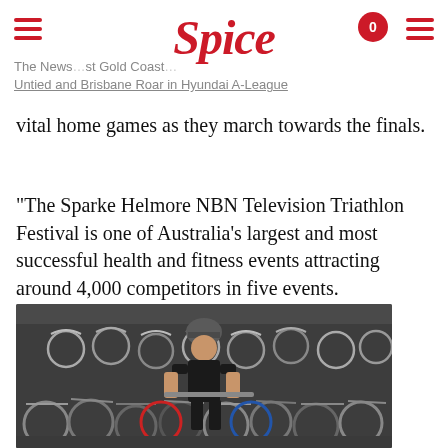Spice — The News… Gold Coast… Untied and Brisbane Roar in Hyundai A-League
vital home games as they march towards the finals.
“The Sparke Helmore NBN Television Triathlon Festival is one of Australia’s largest and most successful health and fitness events attracting around 4,000 competitors in five events.
[Figure (photo): A triathlete in a black sleeveless top and cycling helmet stands amid a very dense rack of bicycles in a triathlon transition zone.]